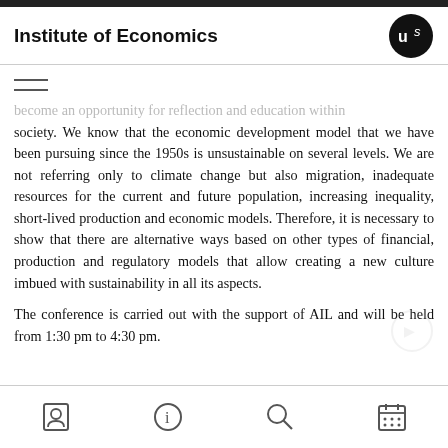Institute of Economics
become an opportunity for reflection and education within society. We know that the economic development model that we have been pursuing since the 1950s is unsustainable on several levels. We are not referring only to climate change but also migration, inadequate resources for the current and future population, increasing inequality, short-lived production and economic models. Therefore, it is necessary to show that there are alternative ways based on other types of financial, production and regulatory models that allow creating a new culture imbued with sustainability in all its aspects.
The conference is carried out with the support of AIL and will be held from 1:30 pm to 4:30 pm.